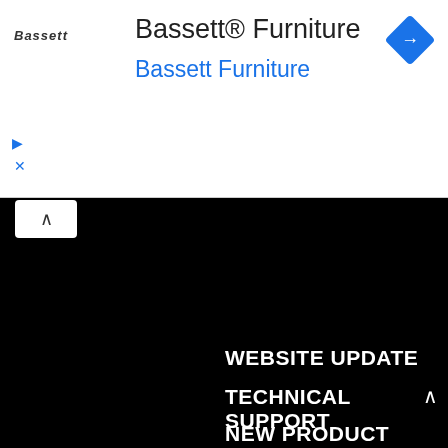[Figure (screenshot): Bassett Furniture advertisement banner with logo, title text 'Bassett® Furniture', subtitle 'Bassett Furniture' in blue, a blue diamond navigation icon top right, and play/close controls on the left.]
to do the maintenance work for, be it a once off, short term or a continuous website maintenance job.
WEBSITE UPDATE
TECHNICAL SUPPORT
NEW PRODUCT UPLOAD
DOMIAN AND HOSTING ASSISTANCE
WEBSITE HEALTH CHECHUP